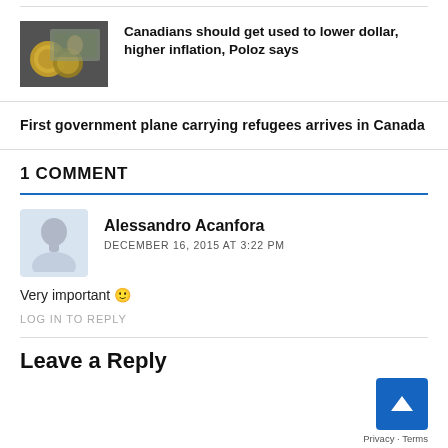[Figure (photo): Thumbnail photo of Canadian coins and a US dollar bill in background]
Canadians should get used to lower dollar, higher inflation, Poloz says
First government plane carrying refugees arrives in Canada
1 COMMENT
[Figure (illustration): Generic user avatar silhouette in light blue]
Alessandro Acanfora
DECEMBER 16, 2015 AT 3:22 PM
Very important 🙂
LOG IN TO REPLY
Leave a Reply